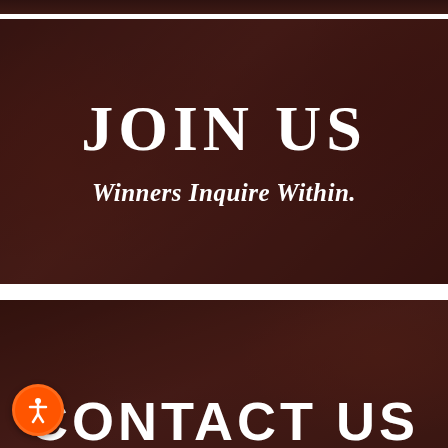[Figure (photo): Top dark reddish-brown banner image, partially cropped at top of page]
[Figure (photo): Dark reddish-brown photo of a bearded man looking at a wall with design mockups, overlaid with 'JOIN US' and 'Winners Inquire Within.' text]
JOIN US
Winners Inquire Within.
[Figure (photo): Dark reddish-brown photo of a woman writing/drawing, with 'CONTACT US' text partially visible at bottom]
CONTACT US